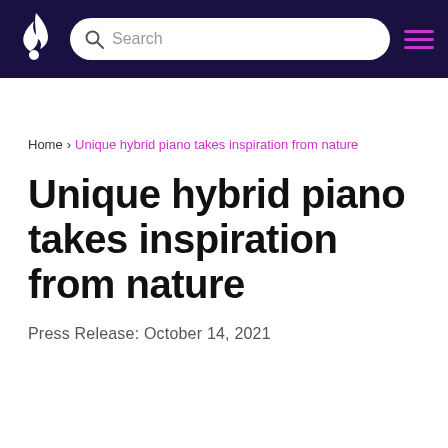Search
Home › Unique hybrid piano takes inspiration from nature
Unique hybrid piano takes inspiration from nature
Press Release: October 14, 2021